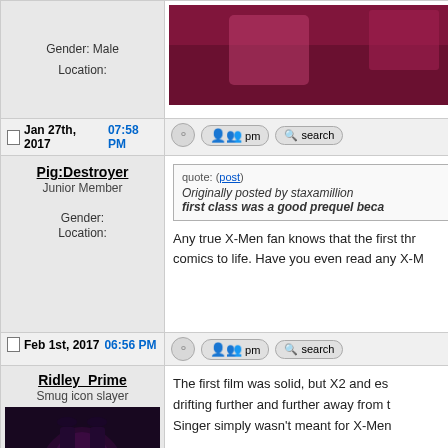| User Info | Post Content |
| --- | --- |
| Gender: Male
Location: | (avatar image) |
| Jan 27th, 2017 07:58 PM | (action buttons) |
| Pig:Destroyer
Junior Member
Gender:
Location: | quote: (post)
Originally posted by staxamillion
first class was a good prequel beca...
Any true X-Men fan knows that the first thr... comics to life. Have you even read any X-M... |
| Feb 1st, 2017 06:56 PM | (action buttons) |
| Ridley_Prime
Smug icon slayer
(avatar) | The first film was solid, but X2 and es... drifting further and further away from t... Singer simply wasn't meant for X-Men...

The 2nd X trilogy was far superior. |